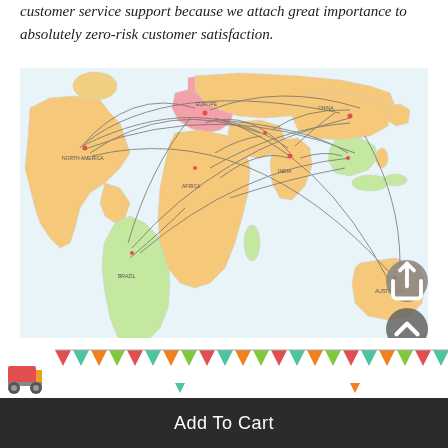customer service support because we attach great importance to absolutely zero-risk customer satisfaction.
[Figure (map): World map showing global shipping/distribution routes with curved arc lines connecting various countries and regions. The map uses pastel colors (orange, green, pink, yellow) for different regions, with many curved lines indicating trade or delivery routes between continents.]
[Figure (illustration): Decorative banner with colorful triangular pennant flags in red, teal, orange, and green, with a forklift/delivery truck icon on the left side.]
Add To Cart